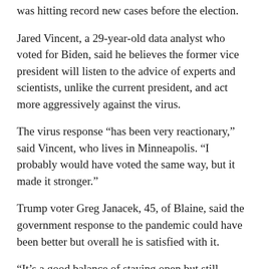was hitting record new cases before the election.
Jared Vincent, a 29-year-old data analyst who voted for Biden, said he believes the former vice president will listen to the advice of experts and scientists, unlike the current president, and act more aggressively against the virus.
The virus response “has been very reactionary,” said Vincent, who lives in Minneapolis. “I probably would have voted the same way, but it made it stronger.”
Trump voter Greg Janacek, 45, of Blaine, said the government response to the pandemic could have been better but overall he is satisfied with it.
“It’s a good balance of staying open but still protecting our citizens,” he said.
ON THE ISSUES
The coronavirus pandemic was top of mind for many voters in Minnesota. Four in 10 it is the most important issue